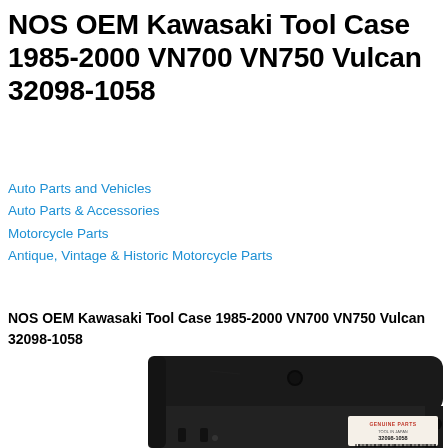NOS OEM Kawasaki Tool Case 1985-2000 VN700 VN750 Vulcan 32098-1058
Auto Parts and Vehicles
Auto Parts & Accessories
Motorcycle Parts
Antique, Vintage & Historic Motorcycle Parts
NOS OEM Kawasaki Tool Case 1985-2000 VN700 VN750 Vulcan 32098-1058
[Figure (photo): Photo of a black Kawasaki OEM tool case (part number 32098-1058) with a Genuine Parts label visible in the lower right corner showing the part number.]